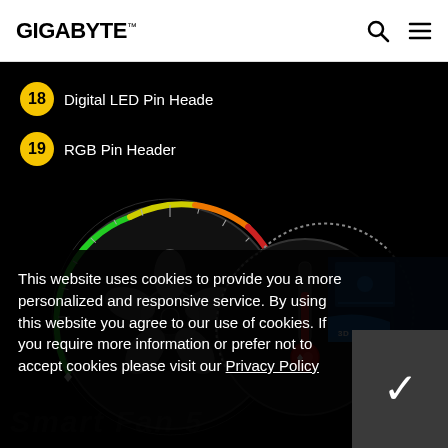GIGABYTE
18 Digital LED Pin Heade
19 RGB Pin Header
[Figure (illustration): Gigabyte Smart Fan 5 dashboard illustration showing two circular gauge dials — one with a fan blade graphic and a green-yellow-orange-red arc indicator, another with a thermometer gauge — displayed on a dark background. A 3D Industry promotional image is visible on the right side.]
This website uses cookies to provide you a more personalized and responsive service. By using this website you agree to our use of cookies. If you require more information or prefer not to accept cookies please visit our Privacy Policy